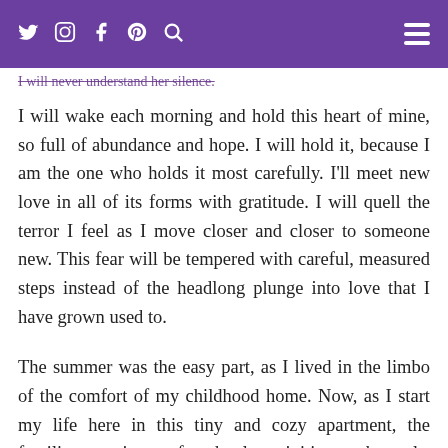I will never recover from his betrayal. [social icons: Twitter, Instagram, Facebook, Pinterest, Search] [hamburger menu]
I will never understand her silence.
I will wake each morning and hold this heart of mine, so full of abundance and hope. I will hold it, because I am the one who holds it most carefully. I'll meet new love in all of its forms with gratitude. I will quell the terror I feel as I move closer and closer to someone new. This fear will be tempered with careful, measured steps instead of the headlong plunge into love that I have grown used to.
The summer was the easy part, as I lived in the limbo of the comfort of my childhood home. Now, as I start my life here in this tiny and cozy apartment, the familiar routines of school activities, rehearsals, birthdays and Hallmark holidays are a fresh new wound. Each moment is so completely different than it was last year. Each moment has me standing on the outside, watching my family carry